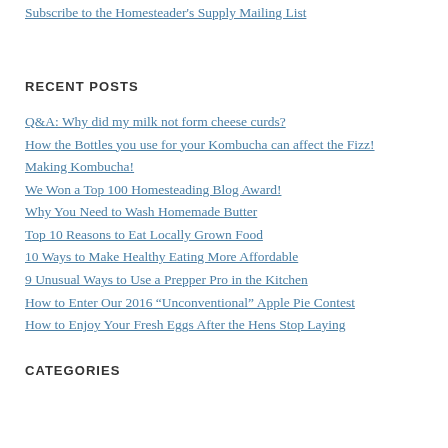Subscribe to the Homesteader's Supply Mailing List
RECENT POSTS
Q&A: Why did my milk not form cheese curds?
How the Bottles you use for your Kombucha can affect the Fizz!
Making Kombucha!
We Won a Top 100 Homesteading Blog Award!
Why You Need to Wash Homemade Butter
Top 10 Reasons to Eat Locally Grown Food
10 Ways to Make Healthy Eating More Affordable
9 Unusual Ways to Use a Prepper Pro in the Kitchen
How to Enter Our 2016 “Unconventional” Apple Pie Contest
How to Enjoy Your Fresh Eggs After the Hens Stop Laying
CATEGORIES